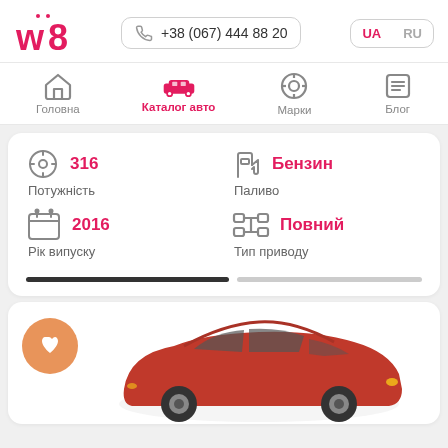[Figure (logo): w8 logo in red/pink]
+38 (067) 444 88 20
UA  RU
Головна
Каталог авто
Марки
Блог
316
Потужність
Бензин
Паливо
2016
Рік випуску
Повний
Тип приводу